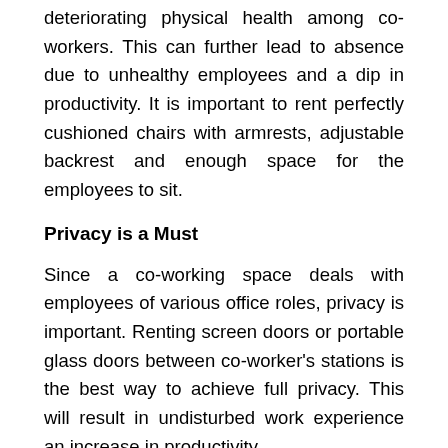deteriorating physical health among co-workers. This can further lead to absence due to unhealthy employees and a dip in productivity. It is important to rent perfectly cushioned chairs with armrests, adjustable backrest and enough space for the employees to sit.
Privacy is a Must
Since a co-working space deals with employees of various office roles, privacy is important. Renting screen doors or portable glass doors between co-worker's stations is the best way to achieve full privacy. This will result in undisturbed work experience an increase in productivity.
Light up Your Co-Working Space
It is a great advantage if you have windows in your office. It lets the natural light to come in adding...